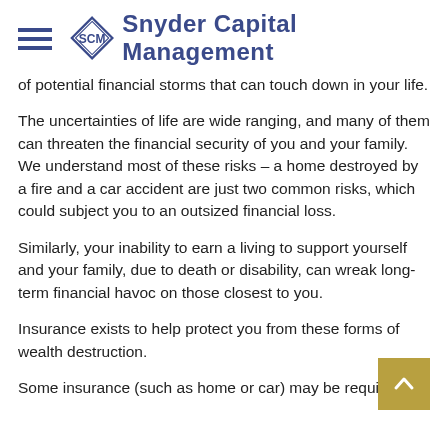Snyder Capital Management
of potential financial storms that can touch down in your life.
The uncertainties of life are wide ranging, and many of them can threaten the financial security of you and your family. We understand most of these risks – a home destroyed by a fire and a car accident are just two common risks, which could subject you to an outsized financial loss.
Similarly, your inability to earn a living to support yourself and your family, due to death or disability, can wreak long-term financial havoc on those closest to you.
Insurance exists to help protect you from these forms of wealth destruction.
Some insurance (such as home or car) may be required.